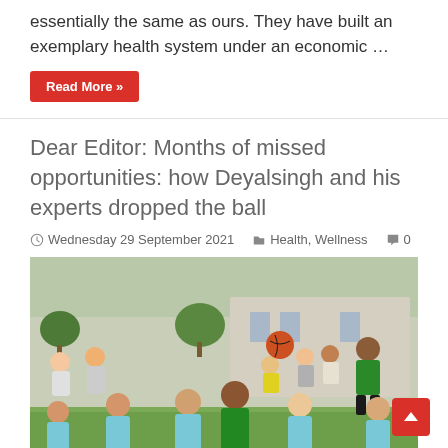essentially the same as ours. They have built an exemplary health system under an economic …
Read More »
Dear Editor: Months of missed opportunities: how Deyalsingh and his experts dropped the ball
Wednesday 29 September 2021   Health, Wellness   0
[Figure (photo): Children playing soccer on a grass field, wearing light blue and green jerseys, with adults watching in the background.]